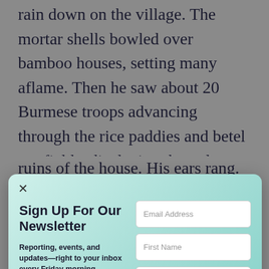rain down on the village. The mortar shells bowled over bamboo houses, setting many aflame. Then he saw about 20 Burmese troops advancing through the rice paddies and betel nut fields, displaying the red bandanas
[Figure (other): Newsletter signup modal overlay with gradient teal/green background. Contains close button (×), title 'Sign Up For Our Newsletter', description text 'Reporting, events, and updates—right to your inbox every Friday morning', and form fields for Email Address, First Name, Last Name, and a 'Subscribe Now' button.]
ruins of the house. His ears rang. An ankle-deep crater smoldered just outside. His stepbrother was tearing strips from his own black sarong to bind Abdul's bleeding shoulder. Abdul could not move his right arm. A metal spike protruded